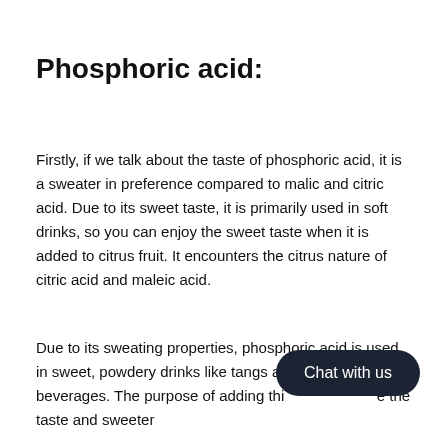Phosphoric acid:
Firstly, if we talk about the taste of phosphoric acid, it is a sweater in preference compared to malic and citric acid. Due to its sweet taste, it is primarily used in soft drinks, so you can enjoy the sweet taste when it is added to citrus fruit. It encounters the citrus nature of citric acid and maleic acid.
Due to its sweating properties, phosphoric acid is used in sweet, powdery drinks like tangs and other beverages. The purpose of adding this is to enhance the taste and sweeter